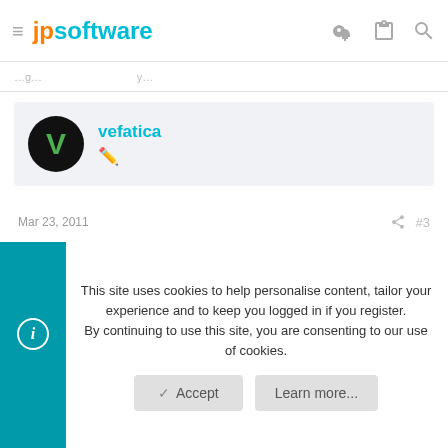jpsoftware
Mar 23, 2011  #3
vefatica
On Wed, 23 Mar 2011 00:17:25 -0400, rconn <> wrote:
|---Quote (Originally by vefatica)---
|Is it correct that v12.01.44's OPTION /U allow upgrading to 12.10.56?
This site uses cookies to help personalise content, tailor your experience and to keep you logged in if you register.
By continuing to use this site, you are consenting to our use of cookies.